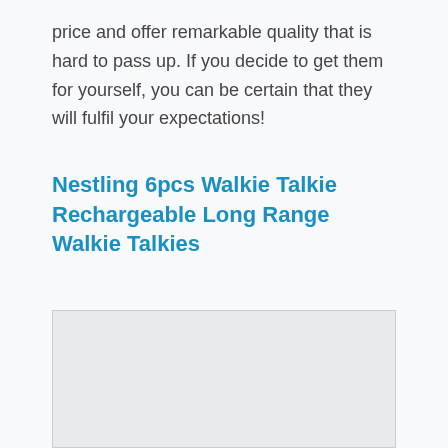price and offer remarkable quality that is hard to pass up. If you decide to get them for yourself, you can be certain that they will fulfil your expectations!
Nestling 6pcs Walkie Talkie Rechargeable Long Range Walkie Talkies
[Figure (photo): Empty image placeholder box with light gray background]